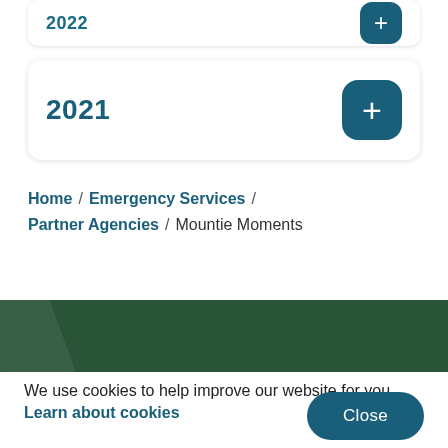2022
2021
Home / Emergency Services / Partner Agencies / Mountie Moments
[Figure (other): Dark green decorative banner/bar with a diagonal slash graphic element]
We use cookies to help improve our website for you. Learn about cookies
Close